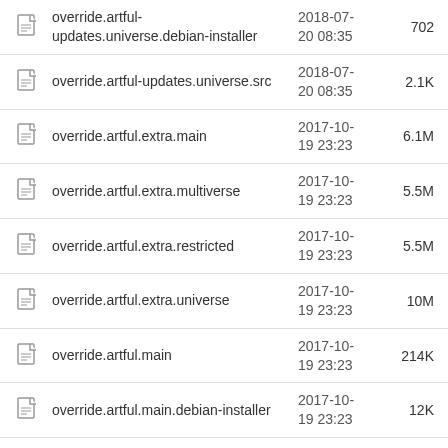override.artful-updates.universe.debian-installer  2018-07-20 08:35  702
override.artful-updates.universe.src  2018-07-20 08:35  2.1K
override.artful.extra.main  2017-10-19 23:23  6.1M
override.artful.extra.multiverse  2017-10-19 23:23  5.5M
override.artful.extra.restricted  2017-10-19 23:23  5.5M
override.artful.extra.universe  2017-10-19 23:23  10M
override.artful.main  2017-10-19 23:23  214K
override.artful.main.debian-installer  2017-10-19 23:23  12K